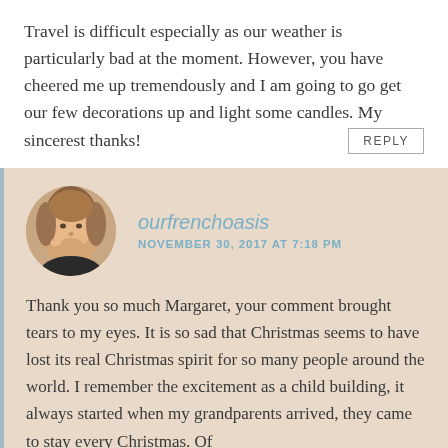Travel is difficult especially as our weather is particularly bad at the moment. However, you have cheered me up tremendously and I am going to go get our few decorations up and light some candles. My sincerest thanks!
REPLY
[Figure (photo): Circular avatar photo of a blonde woman]
ourfrenchoasis
NOVEMBER 30, 2017 AT 7:18 PM
Thank you so much Margaret, your comment brought tears to my eyes. It is so sad that Christmas seems to have lost its real Christmas spirit for so many people around the world. I remember the excitement as a child building, it always started when my grandparents arrived, they came to stay every Christmas. Of